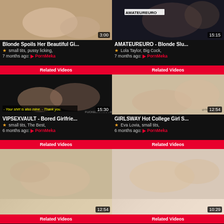[Figure (screenshot): Video thumbnail 1 - Blonde Spoils Her Beautiful Gi..., duration 3:00]
Blonde Spoils Her Beautiful Gi...
★ small tits, pussy licking,
7 months ago: PornMeka
Related Videos
[Figure (screenshot): Video thumbnail 2 - AMATEUREURO - Blonde Slu..., duration 15:15]
AMATEUREURO - Blonde Slu...
★ Lola Taylor, Big Cock,
7 months ago: PornMeka
Related Videos
[Figure (screenshot): Video thumbnail 3 - VIPSEXVAULT - Bored Girlfrie..., duration 15:30]
VIPSEXVAULT - Bored Girlfrie...
★ small tits, The Best,
6 months ago: PornMeka
Related Videos
[Figure (screenshot): Video thumbnail 4 - GIRLSWAY Hot College Girl S..., duration 12:54]
GIRLSWAY Hot College Girl S...
★ Eva Lovia, small tits,
6 months ago: PornMeka
Related Videos
[Figure (screenshot): Video thumbnail 5, duration 12:54]
Related Videos
[Figure (screenshot): Video thumbnail 6, duration 10:29]
Related Videos